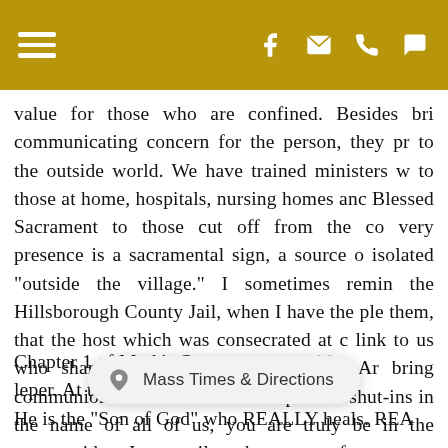[navigation toolbar with hamburger menu and social icons]
value for those who are confined. Besides bri communicating concern for the person, they pr to the outside world. We have trained ministers w to those at home, hospitals, nursing homes anc Blessed Sacrament to those cut off from the co very presence is a sacramental sign, a source o isolated "outside the village." I sometimes remin the Hillsborough County Jail, when I have the ple them, that the host which was consecrated at c link to us who share in communion with them. Ar bring communion to the sick in our hospitals a shut-ins in the name of all of us, you are truly be in the countryside... Jesus smiles when you perfo
Chapter 1 of Mark's G... ...ith leper. At this point h... ...ed He is the "Son of God" who REALLY heals. REA